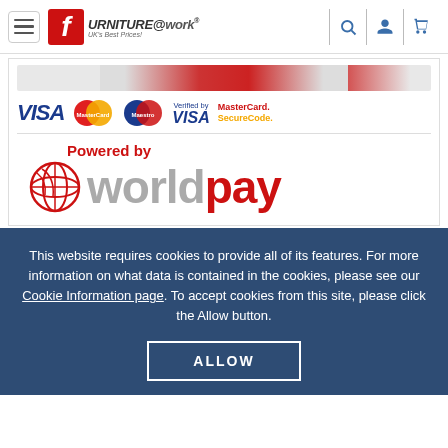Furniture@work – UK's Best Prices!
[Figure (logo): Payment method logos: VISA, MasterCard, Maestro, Verified by VISA, MasterCard SecureCode; and Powered by Worldpay logo]
This website requires cookies to provide all of its features. For more information on what data is contained in the cookies, please see our Cookie Information page. To accept cookies from this site, please click the Allow button.
ALLOW